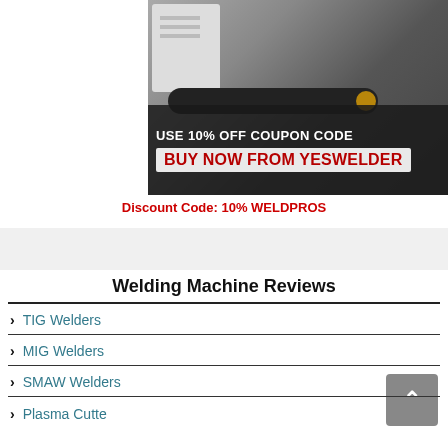[Figure (photo): Advertisement image for YesWelder showing a welding machine with a dark overlay banner reading 'USE 10% OFF COUPON CODE' and 'BUY NOW FROM YesWelder']
Discount Code: 10% WELDPROS
Welding Machine Reviews
TIG Welders
MIG Welders
SMAW Welders
Plasma Cutters